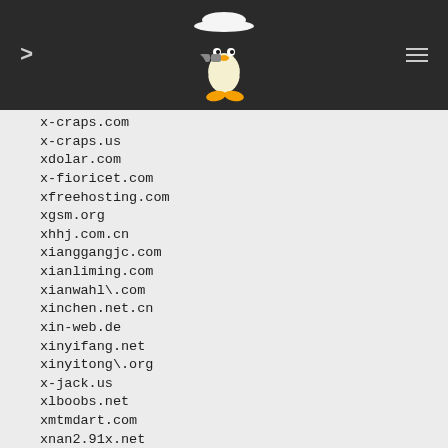> [penguin logo] ≡
x-craps.com
x-craps.us
xdolar.com
x-fioricet.com
xfreehosting.com
xgsm.org
xhhj.com.cn
xianggangjc.com
xianliming.com
xianwahl\.com
xinchen.net.cn
xin-web.de
xinyifang.net
xinyitong\.org
x-jack.us
xlboobs.net
xmtmdart.com
xnan2.91x.net
xnan2.blogdriver.com
xnxxx.com
x-pictures.net
x-pictures.org